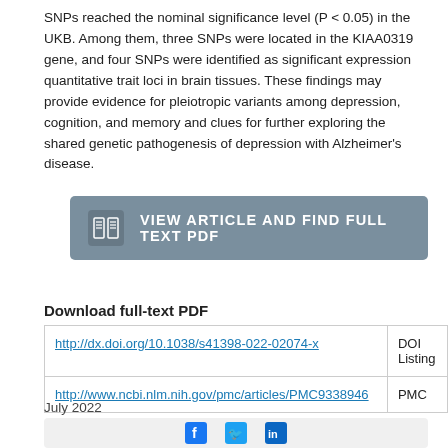SNPs reached the nominal significance level (P < 0.05) in the UKB. Among them, three SNPs were located in the KIAA0319 gene, and four SNPs were identified as significant expression quantitative trait loci in brain tissues. These findings may provide evidence for pleiotropic variants among depression, cognition, and memory and clues for further exploring the shared genetic pathogenesis of depression with Alzheimer's disease.
[Figure (other): Button with book icon and text 'VIEW ARTICLE AND FIND FULL TEXT PDF' on a grey-blue background]
Download full-text PDF
|  | Source |
| --- | --- |
| http://dx.doi.org/10.1038/s41398-022-02074-x | DOI Listing |
| http://www.ncbi.nlm.nih.gov/pmc/articles/PMC9338946 | PMC |
July 2022
[Figure (other): Social media sharing icons: Facebook, Twitter, LinkedIn]